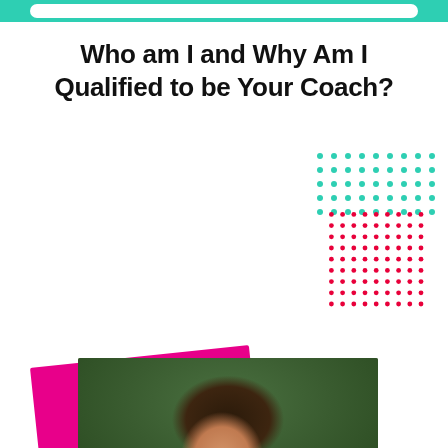Who am I and Why Am I Qualified to be Your Coach?
[Figure (photo): A smiling dark-haired woman in a floral dark blue dress holding a bright yellow sunflower, photographed outdoors in a garden with green foliage in the background. Decorative pink card behind photo, teal and pink dot grids in background.]